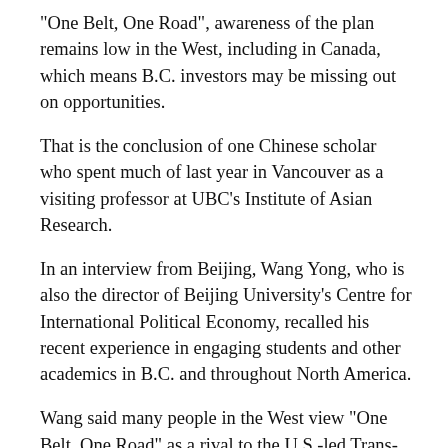“One Belt, One Road”, awareness of the plan remains low in the West, including in Canada, which means B.C. investors may be missing out on opportunities.
That is the conclusion of one Chinese scholar who spent much of last year in Vancouver as a visiting professor at UBC’s Institute of Asian Research.
In an interview from Beijing, Wang Yong, who is also the director of Beijing University’s Centre for International Political Economy, recalled his recent experience in engaging students and other academics in B.C. and throughout North America.
Wang said many people in the West view “One Belt, One Road” as a rival to the U.S.-led Trans-Pacific Partnership. But such an interpretation creates misconceptions about China’s goals.
“There’s certainly a competitive aspect to ‘One Belt, One Road’, but to overstate that aspect is to misjudge the intentions of the plan as a whole,” he said. “This was